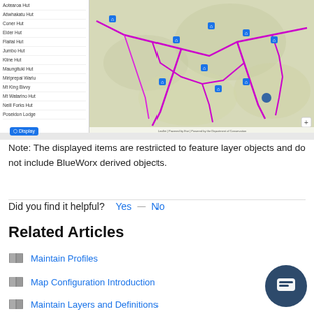[Figure (screenshot): Screenshot of a web application showing a sidebar list of hut names on the left and a topographic map with pink/purple trail routes and blue location markers on the right. A blue 'Display' button appears at the bottom left.]
Note: The displayed items are restricted to feature layer objects and do not include BlueWorx derived objects.
Did you find it helpful?  Yes  —  No
Related Articles
Maintain Profiles
Map Configuration Introduction
Maintain Layers and Definitions